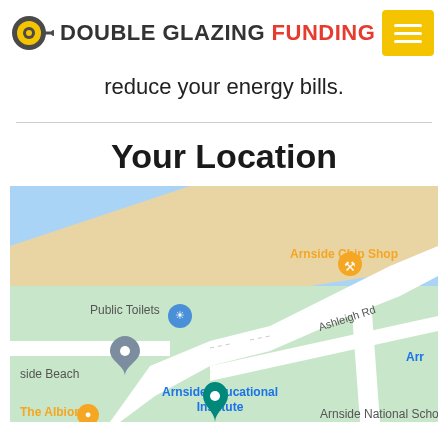DOUBLE GLAZING FUNDING
reduce your energy bills.
Your Location
[Figure (map): Google Maps view of Arnside area showing Arnside Chip Shop, Public Toilets, Arnside Beach, Arnside Educational Institute, The Albion, and Arnside National School with road layout including Ashleigh Rd.]